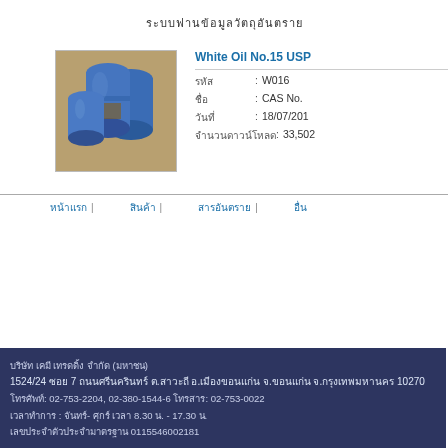ระบบฐานข้อมูลวัตถุอันตราย
[Figure (photo): Blue industrial barrels/drums stacked outdoors]
White Oil No.15 USP
รหัส : W016
ชื่อ : CAS No.
วันที่ : 18/07/201
จำนวนดาวน์โหลด : 33,502
หน้าแรก | สินค้า | สารอันตราย | อื่น
บริษัท เคมี เทรดดิ้ง จำกัด (มหาชน)
1524/24 ซอย 7 ถนนศรีนครินทร์ ต.สาวะถี อ.เมืองขอนแก่น จ.ขอนแก่น จ.กรุงเทพมหานคร 10270
โทรศัพท์: 02-753-2204, 02-380-1544-6 โทรสาร: 02-753-0022
เวลาทำการ : จันทร์- ศุกร์ เวลา 8.30 น. - 17.30 น.
เลขประจำตัวผู้เสียภาษี 0115546002181